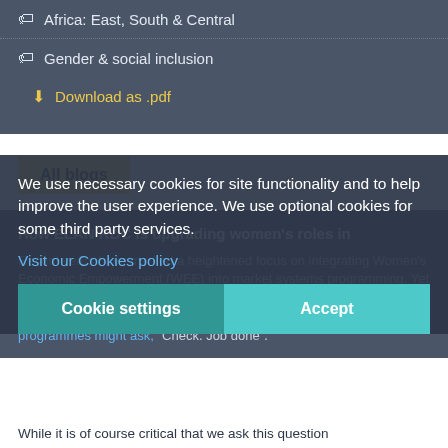Africa: East, South & Central
Gender & social inclusion
Download as .pdf
All blogs
How ELAN RDC is upgrading women's roles in
Recent years have marked a heightened focus on integrating Women's Economic Empowerment (WEE) into market systems programming. Yet all too often, efforts to mainstream WEE have translated into a crude focus on female participation. "Are women present in the sector?" programmes might ask, "Check. Job done".
We use necessary cookies for site functionality and to help improve the user experience. We use optional cookies for some third party services.
Visit our Cookies policy
Cookie settings
Accept
While it is of course critical that we ask this question